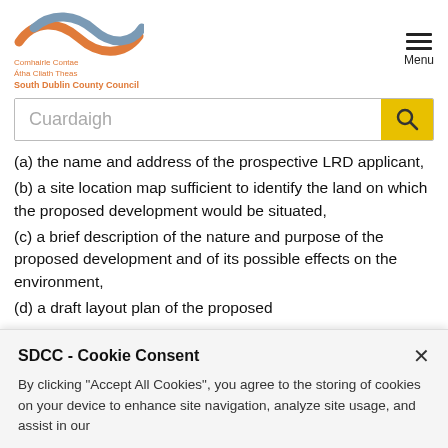[Figure (logo): South Dublin County Council logo with orange and grey wave design and Irish/English text]
Cuardaigh (search bar placeholder)
(a) the name and address of the prospective LRD applicant,
(b) a site location map sufficient to identify the land on which the proposed development would be situated,
(c) a brief description of the nature and purpose of the proposed development and of its possible effects on the environment,
(d) a draft layout plan of the proposed
SDCC - Cookie Consent
By clicking "Accept All Cookies", you agree to the storing of cookies on your device to enhance site navigation, analyze site usage, and assist in our